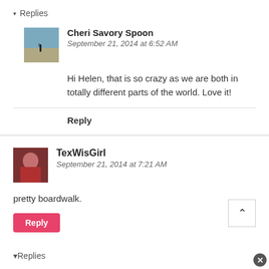▾ Replies
Cheri Savory Spoon
September 21, 2014 at 6:52 AM
Hi Helen, that is so crazy as we are both in totally different parts of the world. Love it!
Reply
TexWisGirl
September 21, 2014 at 7:21 AM
pretty boardwalk.
Reply
▾ Replies